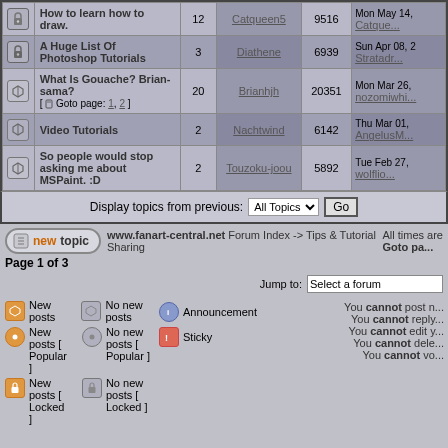|  | Topic | Replies | Author | Views | Last Post |
| --- | --- | --- | --- | --- | --- |
| [icon] | How to learn how to draw. | 12 | Catqueen5 | 9516 | Mon May 14, Catque... |
| [icon] | A Huge List Of Photoshop Tutorials | 3 | Diathene | 6939 | Sun Apr 08, 2 Stratadr... |
| [icon] | What Is Gouache? Brian-sama? [ Goto page: 1, 2 ] | 20 | Brianhjh | 20351 | Mon Mar 26, nozomiwhi... |
| [icon] | Video Tutorials | 2 | Nachtwind | 6142 | Thu Mar 01, AngelusM... |
| [icon] | So people would stop asking me about MSPaint. :D | 2 | Touzoku-joou | 5892 | Tue Feb 27, wolflio... |
Display topics from previous: All Topics  Go
www.fanart-central.net Forum Index -> Tips & Tutorial Sharing
All times are  Goto pa...
Page 1 of 3
Jump to: Select a forum
New posts
No new posts
Announcement
New posts [ Popular ]
No new posts [ Popular ]
Sticky
New posts [ Locked ]
No new posts [ Locked ]
You cannot post n...
You cannot reply...
You cannot edit y...
You cannot dele...
You cannot vo...